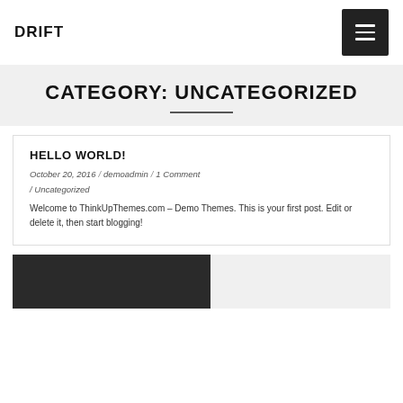DRIFT
CATEGORY: UNCATEGORIZED
HELLO WORLD!
October 20, 2016 / demoadmin / 1 Comment / Uncategorized
Welcome to ThinkUpThemes.com – Demo Themes. This is your first post. Edit or delete it, then start blogging!